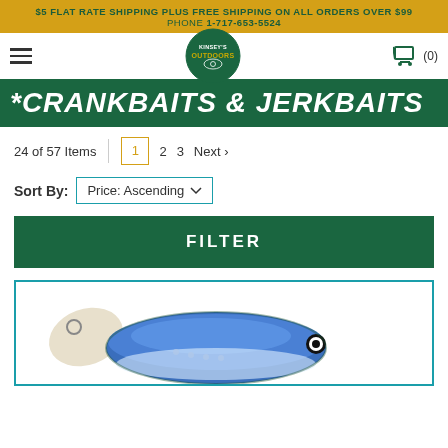$5 FLAT RATE SHIPPING PLUS FREE SHIPPING ON ALL ORDERS OVER $99
PHONE 1-717-653-5524
[Figure (logo): Kinsey's Outdoors circular logo with green background]
*CRANKBAITS & JERKBAITS
24 of 57 Items   1   2   3   Next >
Sort By:  Price: Ascending
FILTER
[Figure (photo): Close-up photo of a blue and white crankbait fishing lure]